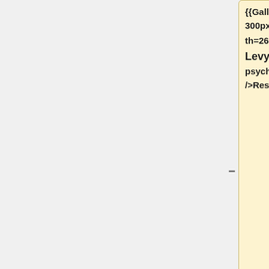{{Gallery|Deb.jpg|225px|height=300px|boxheight=440px|boxwidth=265px|caption=<big>Deborah Levy</big><br />deblevy AT psych.upenn.edu<br />Research Specialist}}
{{Gallery|Logan.jpg|225px|height=300px|boxheight=440px|boxwidth=265px|caption=<big>Logan O'Sullivan</big><br />losu AT psych.upenn.ed